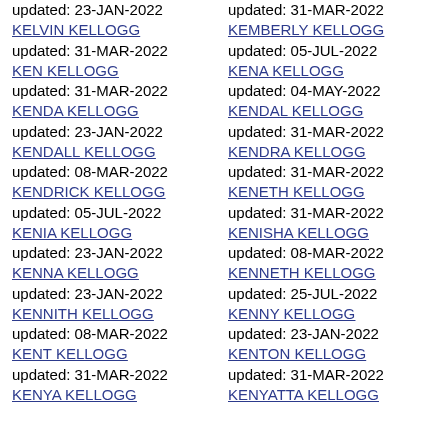updated: 23-JAN-2022
KELVIN KELLOGG
updated: 31-MAR-2022
KEN KELLOGG
updated: 31-MAR-2022
KENDA KELLOGG
updated: 23-JAN-2022
KENDALL KELLOGG
updated: 08-MAR-2022
KENDRICK KELLOGG
updated: 05-JUL-2022
KENIA KELLOGG
updated: 23-JAN-2022
KENNA KELLOGG
updated: 23-JAN-2022
KENNITH KELLOGG
updated: 08-MAR-2022
KENT KELLOGG
updated: 31-MAR-2022
KENYA KELLOGG
updated: 31-MAR-2022
KEMBERLY KELLOGG
updated: 05-JUL-2022
KENA KELLOGG
updated: 04-MAY-2022
KENDAL KELLOGG
updated: 31-MAR-2022
KENDRA KELLOGG
updated: 31-MAR-2022
KENETH KELLOGG
updated: 31-MAR-2022
KENISHA KELLOGG
updated: 08-MAR-2022
KENNETH KELLOGG
updated: 25-JUL-2022
KENNY KELLOGG
updated: 23-JAN-2022
KENTON KELLOGG
updated: 31-MAR-2022
KENYATTA KELLOGG